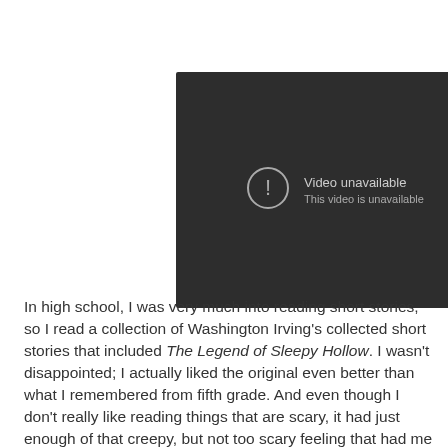[Figure (screenshot): Embedded video player showing 'Video unavailable' error message with YouTube play button icon in lower right corner. Dark background (#2d2d2d) with gray warning circle icon and text 'Video unavailable / This video is unavailable'.]
In high school, I was very much into reading short stories, so I read a collection of Washington Irving's collected short stories that included The Legend of Sleepy Hollow. I wasn't disappointed; I actually liked the original even better than what I remembered from fifth grade. And even though I don't really like reading things that are scary, it had just enough of that creepy, but not too scary feeling that had me hooked. So, since then it has become a yearly tradition to read some